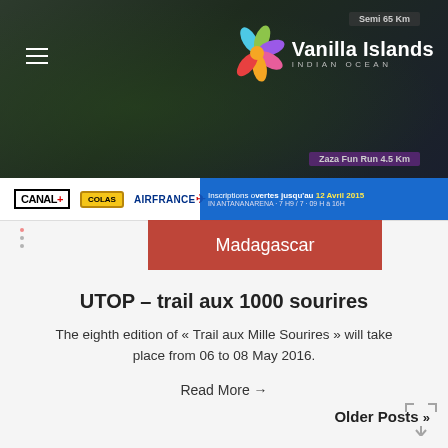[Figure (screenshot): Header banner with Vanilla Islands Indian Ocean logo, colorful flower/petals graphic, dark nature background, hamburger menu icon, race labels (Semi 65 Km, Zaza Fun Run 4.5 Km), sponsors bar with CANAL+, COLAS, Air France logos, Madagascar red overlay banner, and blue Inscriptions bar with date 12 Avril 2015]
UTOP – trail aux 1000 sourires
The eighth edition of « Trail aux Mille Sourires » will take place from 06 to 08 May 2016.
Read More →
Older Posts »